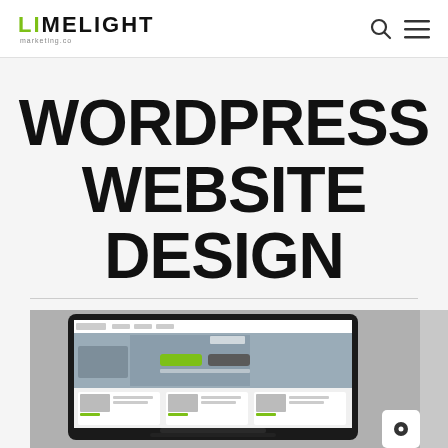LIMELIGHT marketing.co
WORDPRESS WEBSITE DESIGN
[Figure (screenshot): Screenshot of a website displayed on a laptop screen, showing a web design with green accents, navigation bar, hero image with a person pointing at a screen, and content sections below.]